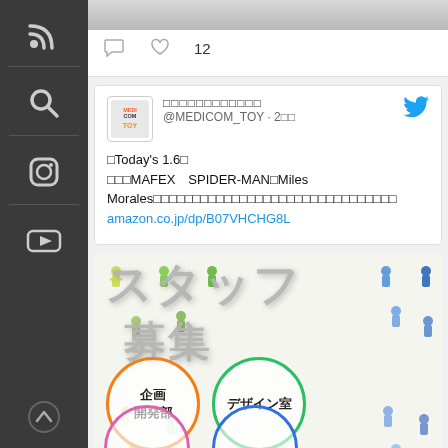[Figure (screenshot): Social media sidebar with RSS, Search, Instagram, YouTube icons on dark background]
[Figure (screenshot): Bottom of first tweet showing comment and like icons with count 12]
[Figure (screenshot): Tweet from @MEDICOM_TOY account with Medicom Toy logo avatar and Twitter bird icon, 2 hours ago. Text: Today's 1.6, MAFEX SPIDER-MAN Miles Morales product announcement with Amazon link amazon.co.jp/dp/B07VHCHG8L]
[Figure (infographic): Staff recruitment banner in Japanese showing スタッフ募集 (Staff Wanted) with colorful toy figure icons and two circles: 企画開発部 (Planning & Development) in orange circle and デザイン室 (Design Studio) in green circle]